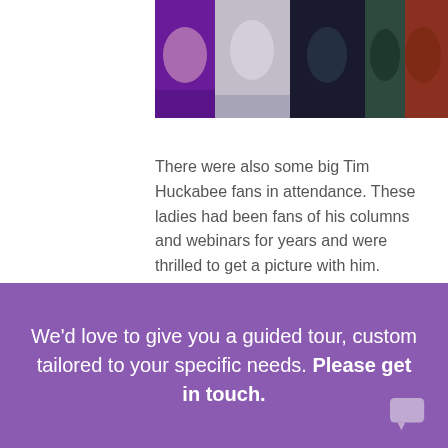[Figure (photo): Partial photograph showing people in colorful clothing — purple, grey, dark navy, and red/patterned fabrics visible at top of page]
There were also some big Tim Huckabee fans in attendance. These ladies had been fans of his columns and webinars for years and were thrilled to get a picture with him.
We'd love to give you a guided tour, custom tailored to your specific needs. Please get in touch.